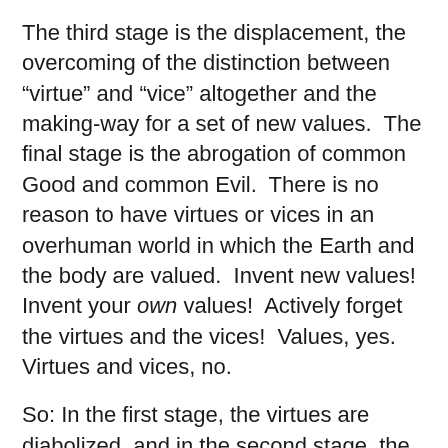The third stage is the displacement, the overcoming of the distinction between “virtue” and “vice” altogether and the making-way for a set of new values.  The final stage is the abrogation of common Good and common Evil.  There is no reason to have virtues or vices in an overhuman world in which the Earth and the body are valued.  Invent new values!  Invent your own values!  Actively forget the virtues and the vices!  Values, yes.  Virtues and vices, no.
So: In the first stage, the virtues are diabolized, and in the second stage, the vices are angelized.  In the third stage, there are neither